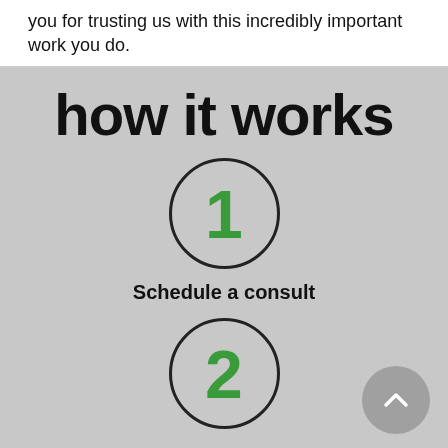you for trusting us with this incredibly important work you do.
how it works
[Figure (infographic): Circle with number 1 in green, representing step 1]
Schedule a consult
[Figure (infographic): Circle with number 2 in green, representing step 2]
[Figure (other): Grey circular scroll-up button with upward arrow chevron]